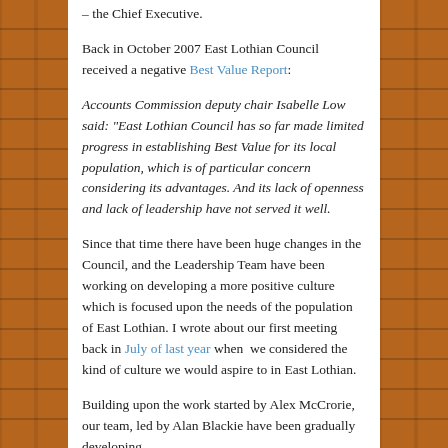– the Chief Executive.
Back in October 2007 East Lothian Council received a negative Best Value Report:
Accounts Commission deputy chair Isabelle Low said: “East Lothian Council has so far made limited progress in establishing Best Value for its local population, which is of particular concern considering its advantages. And its lack of openness and lack of leadership have not served it well.
Since that time there have been huge changes in the Council, and the Leadership Team have been working on developing a more positive culture which is focused upon the needs of the population of East Lothian. I wrote about our first meeting back in July of last year when we considered the kind of culture we would aspire to in East Lothian.
Building upon the work started by Alex McCrorie, our team, led by Alan Blackie have been gradually developing